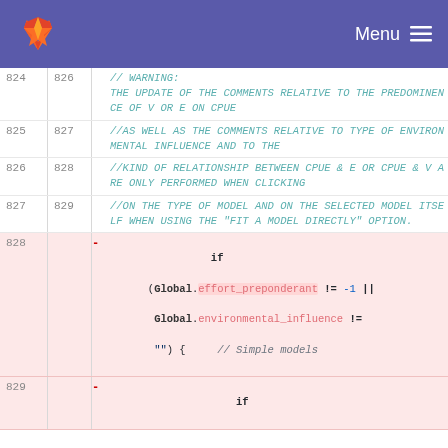Menu
824 826   //WARNING: THE UPDATE OF THE COMMENTS RELATIVE TO THE PREDOMINENCE OF V OR E ON CPUE
825 827   //AS WELL AS THE COMMENTS RELATIVE TO TYPE OF ENVIRONMENTAL INFLUENCE AND TO THE
826 828   //KIND OF RELATIONSHIP BETWEEN CPUE & E OR CPUE & V ARE ONLY PERFORMED WHEN CLICKING
827 829   //ON THE TYPE OF MODEL AND ON THE SELECTED MODEL ITSELF WHEN USING THE "FIT A MODEL DIRECTLY" OPTION.
828   -   if (Global.effort_preponderant != -1 || Global.environmental_influence != "") {  // Simple models
829   -   if